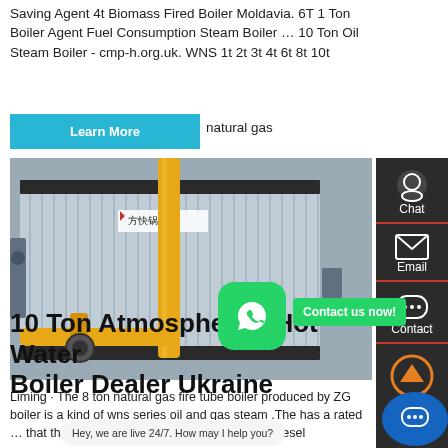Saving Agent 4t Biomass Fired Boiler Moldavia. 6T 1 Ton Boiler Agent Fuel Consumption Steam Boiler … 10 Ton Oil Steam Boiler - cmp-h.org.uk. WNS 1t 2t 3t 4t 6t 8t 10t natural gas
[Figure (photo): Industrial boiler unit with corrugated metal casing and yellow pipes in a factory setting. Chinese text visible on the boiler.]
10 Ton Atmospheric Hot Water Boiler Dealer Ukraine
Liming · The 8 ton natural gas fire tube boiler produced by ZG boiler is a kind of wns series oil and gas steam .The has a rated … that the. Get A Quote Dealer Commercial 6t Diesel